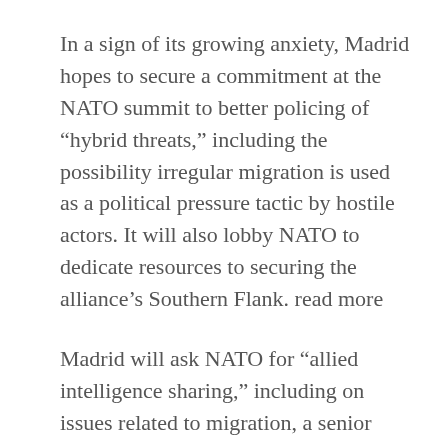In a sign of its growing anxiety, Madrid hopes to secure a commitment at the NATO summit to better policing of “hybrid threats,” including the possibility irregular migration is used as a political pressure tactic by hostile actors. It will also lobby NATO to dedicate resources to securing the alliance’s Southern Flank. read more
Madrid will ask NATO for “allied intelligence sharing,” including on issues related to migration, a senior Spanish diplomatic source and an EU diplomat said. This could formalise and expand on existing intelligence cooperation.
At the summit, NATO will reinforce cooperation efforts with southern countries and agree a package for Morocco, including “confidential intelligence and...